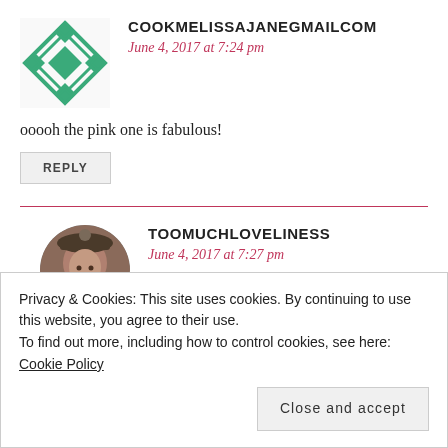[Figure (illustration): Geometric diamond/snowflake avatar in green teal color]
COOKMELISSAJANEGMAILCOM
June 4, 2017 at 7:24 pm
ooooh the pink one is fabulous!
REPLY
[Figure (photo): Circular photo avatar of a woman smiling, wearing a hat]
TOOMUCHLOVELINESS
June 4, 2017 at 7:27 pm
Privacy & Cookies: This site uses cookies. By continuing to use this website, you agree to their use.
To find out more, including how to control cookies, see here: Cookie Policy
Close and accept
REPLY